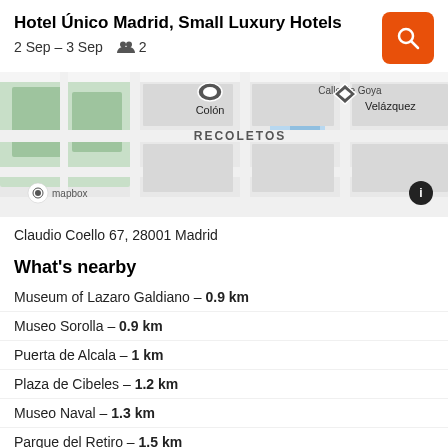Hotel Único Madrid, Small Luxury Hotels
2 Sep – 3 Sep   👥 2
[Figure (map): Street map showing RECOLETOS neighborhood in Madrid with Colón, Calle de Goya, and Velázquez metro stations visible. Mapbox attribution shown.]
Claudio Coello 67, 28001 Madrid
What's nearby
Museum of Lazaro Galdiano – 0.9 km
Museo Sorolla – 0.9 km
Puerta de Alcala – 1 km
Plaza de Cibeles – 1.2 km
Museo Naval – 1.3 km
Parque del Retiro – 1.5 km
KAYAK's Madrid Travel Guide